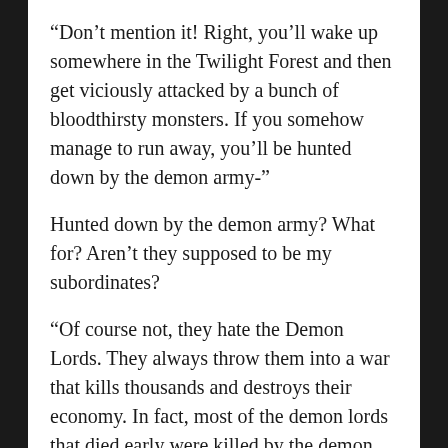“Don’t mention it! Right, you’ll wake up somewhere in the Twilight Forest and then get viciously attacked by a bunch of bloodthirsty monsters. If you somehow manage to run away, you’ll be hunted down by the demon army-”
Hunted down by the demon army? What for? Aren’t they supposed to be my subordinates?
“Of course not, they hate the Demon Lords. They always throw them into a war that kills thousands and destroys their economy. In fact, most of the demon lords that died early were killed by the demon army! Now don’t interrupt. Let’s see, if you somehow manage to survive, you’ll probably be killed…”